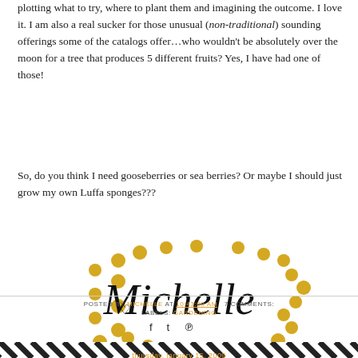plotting what to try, where to plant them and imagining the outcome. I love it. I am also a real sucker for those unusual (non-traditional) sounding offerings some of the catalogs offer…who wouldn't be absolutely over the moon for a tree that produces 5 different fruits? Yes, I have had one of those!
So, do you think I need gooseberries or sea berries? Or maybe I should just grow my own Luffa sponges???
[Figure (illustration): Decorative signature graphic with the name 'Michelle' in cursive script, surrounded by scattered golden/yellow dots arranged in a circular/scattered pattern on a white background.]
POSTED BY MICHELLE AT 10:43:00 AM   7 COMMENTS:
LABELS: GARDENING
[Figure (infographic): Diagonal black and white stripe decorative bar at the bottom of the page]
thursday, january 15, 2009